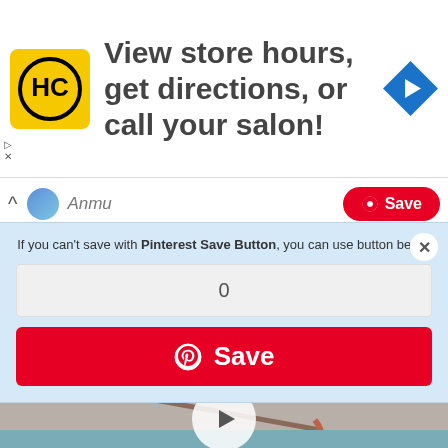[Figure (screenshot): Advertisement banner with HC (Hair Club) logo, text 'View store hours, get directions, or call your salon!', and a blue navigation arrow icon]
Anmu
If you can't save with Pinterest Save Button, you can use button below
0
Save
[Figure (photo): Video thumbnail showing a crochet hook and yarn on a textured blue fabric with a play button overlay]